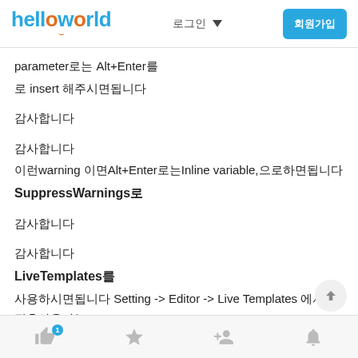helloworld — navigation header with logo, language selector, and login button
parameter로는 Alt+Enter를
로 insert 해주시면됩니다
감사합니다
감사합니다
이런warning 이면Alt+Enter로는Inline variable,으로하면됩니다 SuppressWarnings로
감사합니다
감사합니다
LiveTemplates를
사용하시면됩니다 Setting -> Editor -> Live Templates 에서설정후사용가능
Bottom navigation icons: like, bookmark, friends, notifications